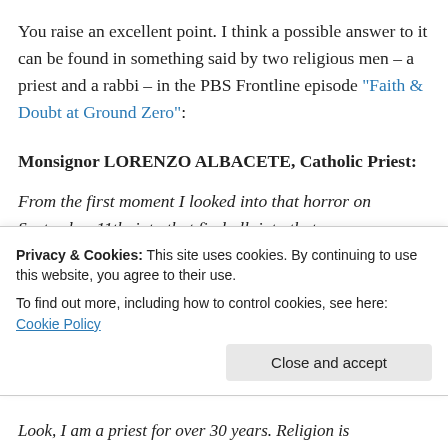You raise an excellent point. I think a possible answer to it can be found in something said by two religious men – a priest and a rabbi – in the PBS Frontline episode "Faith & Doubt at Ground Zero":
Monsignor LORENZO ALBACETE, Catholic Priest:
From the first moment I looked into that horror on September 11th, into that fireball, into that
Privacy & Cookies: This site uses cookies. By continuing to use this website, you agree to their use.
To find out more, including how to control cookies, see here: Cookie Policy
Look, I am a priest for over 30 years. Religion is